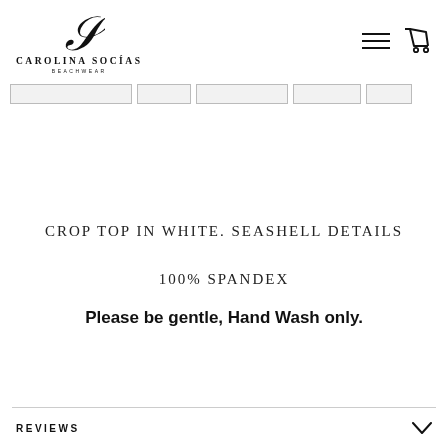[Figure (logo): Carolina Socias Beachwear logo with seahorse icon and brand name text]
[Figure (screenshot): Navigation icons: hamburger menu and shopping cart]
[Figure (screenshot): Row of product thumbnail images partially visible]
CROP TOP IN WHITE. SEASHELL DETAILS
100% SPANDEX
Please be gentle, Hand Wash only.
REVIEWS